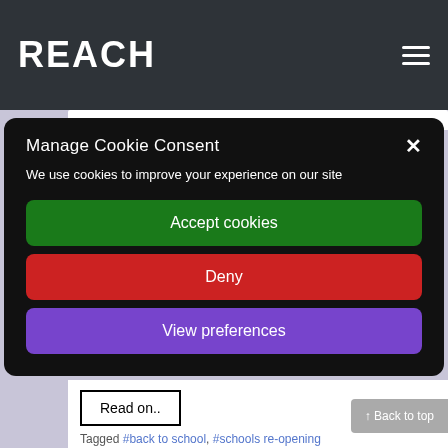REACH
Manage Cookie Consent
We use cookies to improve your experience on our site
Accept cookies
Deny
View preferences
Read on..
↑ Back to top
Tagged #back to school, #schools re-opening